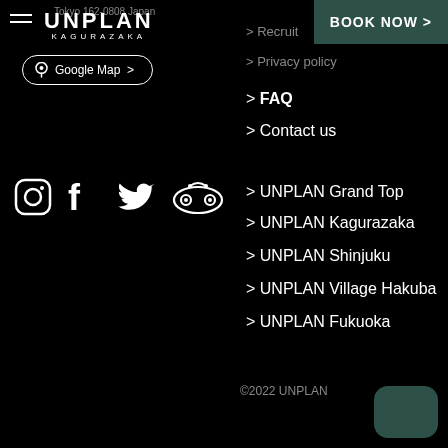Tokyo 162-0808 Japan
UNPLAN
KAGURAZAKA
Google Map
BOOK NOW >
> Recruit
> Privacy policy
> FAQ
> Contact us
[Figure (infographic): Social media icons: Instagram, Facebook, Twitter, TripAdvisor]
> UNPLAN Grand Top
> UNPLAN Kagurazaka
> UNPLAN Shinjuku
> UNPLAN Village Hakuba
> UNPLAN Fukuoka
©2022 UNPLAN